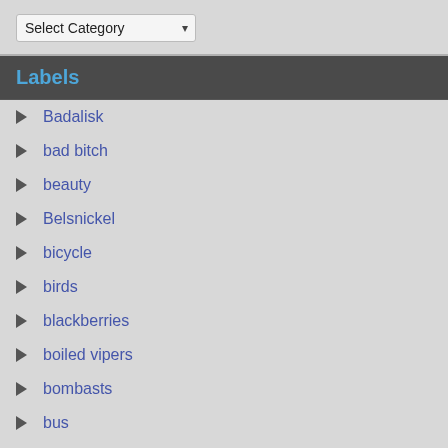Select Category
Labels
Badalisk
bad bitch
beauty
Belsnickel
bicycle
birds
blackberries
boiled vipers
bombasts
bus
clucking
coin
cool mom
copper